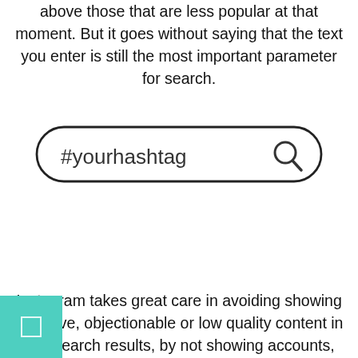more engagement and popularity will show up above those that are less popular at that moment. But it goes without saying that the text you enter is still the most important parameter for search.
[Figure (screenshot): A search bar UI element showing '#yourhashtag' placeholder text with a magnifying glass search icon on the right, styled with rounded corners and a dark border.]
Instagram takes great care in avoiding showing sensitive, objectionable or low quality content in the search results, by not showing accounts,